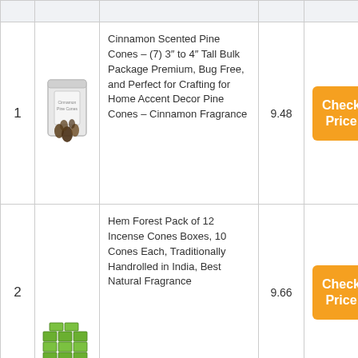| # | Image | Title | Price | Action |
| --- | --- | --- | --- | --- |
| 1 | [pine cone image] | Cinnamon Scented Pine Cones – (7) 3″ to 4″ Tall Bulk Package Premium, Bug Free, and Perfect for Crafting for Home Accent Decor Pine Cones – Cinnamon Fragrance | 9.48 | Check Price |
| 2 | [hem incense image] | Hem Forest Pack of 12 Incense Cones Boxes, 10 Cones Each, Traditionally Handrolled in India, Best Natural Fragrance | 9.66 | Check Price |